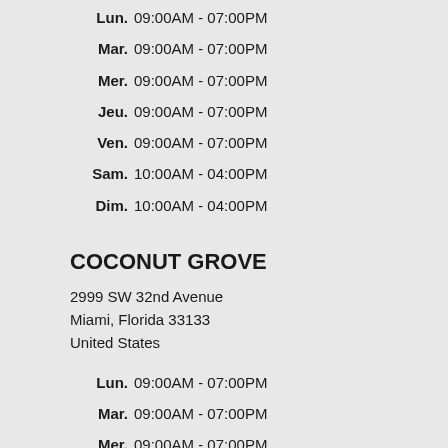Lun. 09:00AM - 07:00PM
Mar. 09:00AM - 07:00PM
Mer. 09:00AM - 07:00PM
Jeu. 09:00AM - 07:00PM
Ven. 09:00AM - 07:00PM
Sam. 10:00AM - 04:00PM
Dim. 10:00AM - 04:00PM
COCONUT GROVE
2999 SW 32nd Avenue
Miami, Florida 33133
United States
Lun. 09:00AM - 07:00PM
Mar. 09:00AM - 07:00PM
Mer. 09:00AM - 07:00PM
Jeu. 09:00AM - 07:00PM
Ven. 09:00AM - 07:00PM
Sam. 10:00AM - 04:00PM